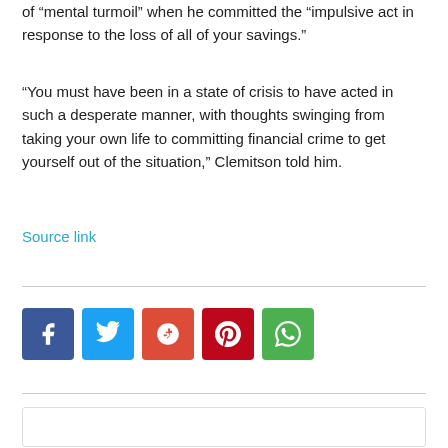of “mental turmoil” when he committed the “impulsive act in response to the loss of all of your savings.”
“You must have been in a state of crisis to have acted in such a desperate manner, with thoughts swinging from taking your own life to committing financial crime to get yourself out of the situation,” Clemitson told him.
Source link
[Figure (infographic): Row of five social media share buttons: Facebook (blue), Twitter (light blue), Google+ (red-orange), Pinterest (red), WhatsApp (green), each with their respective icons in white.]